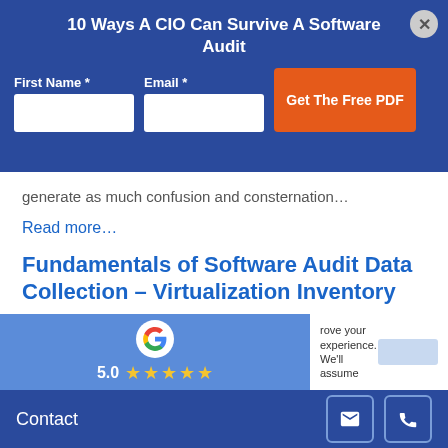10 Ways A CIO Can Survive A Software Audit
First Name *   Email *
Get The Free PDF
generate as much confusion and consternation…
Read more…
Fundamentals of Software Audit Data Collection – Virtualization Inventory
In order to effectively manage their software usage and to mitigate compliance exposure, companies need to know how to gather… Read
[Figure (logo): Google G logo with 5 stars rating overlay]
rove your experience. We'll assume
Contact